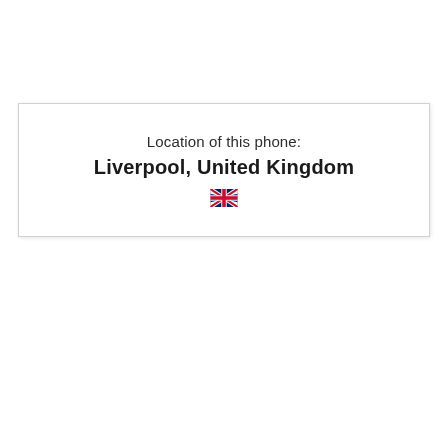Location of this phone:
Liverpool, United Kingdom
[Figure (illustration): UK flag emoji / Union Jack flag icon, small size, centered below the location text]